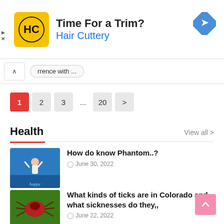[Figure (screenshot): Advertisement banner for Hair Cuttery with logo, 'Time For a Trim?' heading, blue subtitle, and navigation icon]
rrence with ...
1
2
3
...
20
>
Health
View all >
[Figure (photo): Woman with arms raised in blue water, 'happy' text overlay]
How do know Phantom..?
June 30, 2022
[Figure (photo): Close-up of a red tick on green leaf]
What kinds of ticks are in Colorado and what sicknesses do they,,
June 22, 2022